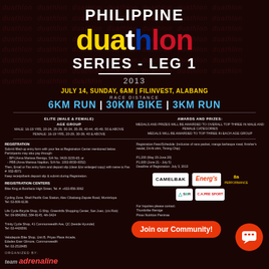PHILIPPINE
duathlon
SERIES - LEG 1
2013
JULY 14, SUNDAY, 6AM | FILINVEST, ALABANG
RACE DISTANCE
6KM RUN | 30KM BIKE | 3KM RUN
ELITE (MALE & FEMALE)
AGE GROUP
MALE: 16-19 YRS, 20-24, 25-29, 30-34, 35-39, 40-44, 45-49, 50 & ABOVE
FEMALE: 16-19 YRS, 20-29, 30-39, 40 & ABOVE
AWARDS AND PRIZES:
MEDALS AND PRIZES WILL BE AWARDED TO OVERALL TOP THREE IN MALE AND FEMALE CATEGORIES
MEDALS WILL BE AWARDED TO TOP THREE IN EACH AGE GROUP
Registration
Submit filled-up entry form with your fee at Registration Center mentioned below. Participants may also pay through:
- BPI (Anna Marissa Remigo, S/A No. 0423-3155-65; or
- PBB (Anna Marissa Napilion, S/A No. 1002-8030-0052)
Then, Email or Fax entry form and deposit slip (clear &/or enlarged copy) with name to Fax #: 932-8071
Keep receipt/bank deposit slip & submit during Registration.
Registration Fees/Schedule: (inclusive of race packet, manga barbeque meal, finisher's medal, Dri-fit shirt, Timing Chip)
P1,200 (May 20-June 20)
P1,600 (June 21 - July 5)
Deadline of Registration: July 3, 2013
REGISTRATION CENTERS
Bike King at Bonifacio High Street, Tel. #: +632-856-3062
Cycling Zone, Shell Pacific Gas Station, Alev Cibabang-Zapote Road, Muntinlupa, Tel: 02-809-6136
Life Cycle Bicycle Shop, G-Ship, Greenhills Shopping Center, San Juan, (c/o Rob), Tel: 09-9842862, 584-8145, 4th-3424
Trinity Cycle Shop, 41 Commonwealth Ave, QC (beside Hyundai), Tel: 02-4426591
Velodepots Bike Shop, Unit B, Priyas Place Arcade, Edades Eser Gilmore, Commonwealth, Tel: 02-2518485
ORGANIZED BY:
team adrenaline
For Inquiries please contact:
Thumbrike Remige
Pinas Nutrition Paminas
[Figure (logo): CamelBak sponsor logo]
[Figure (logo): Energ's sponsor logo]
[Figure (logo): 8a Performance sponsor logo]
[Figure (logo): SBR sponsor logo and other sponsor logos]
[Figure (logo): C.A.PRE SPORT sponsor logo]
Join our Community!